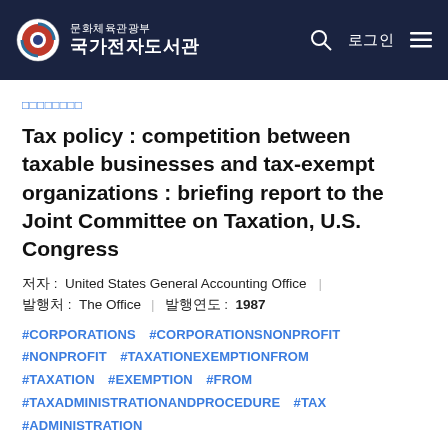문화체육관광부 국가전자도서관
□□□□□□□□
Tax policy : competition between taxable businesses and tax-exempt organizations : briefing report to the Joint Committee on Taxation, U.S. Congress
저자 : United States General Accounting Office
발행처 : The Office | 발행연도 : 1987
#CORPORATIONS #CORPORATIONSNONPROFIT #NONPROFIT #TAXATIONEXEMPTIONFROM #TAXATION #EXEMPTION #FROM #TAXADMINISTRATIONANDPROCEDURE #TAX #ADMINISTRATION
□□□□□□□□